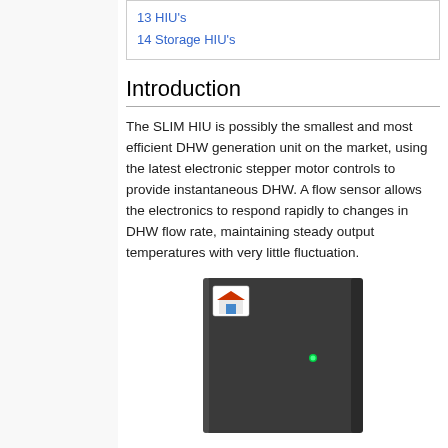13 HIU's
14 Storage HIU's
Introduction
The SLIM HIU is possibly the smallest and most efficient DHW generation unit on the market, using the latest electronic stepper motor controls to provide instantaneous DHW. A flow sensor allows the electronics to respond rapidly to changes in DHW flow rate, maintaining steady output temperatures with very little fluctuation.
[Figure (photo): A slim dark-coloured rectangular HIU (Heat Interface Unit) device with a small coloured logo label near the top left and a small green indicator light on the front panel.]